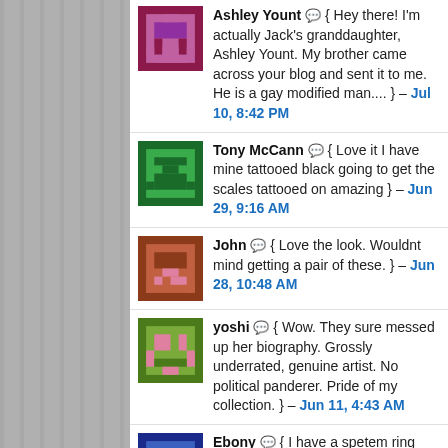Ashley Yount { Hey there! I'm actually Jack's granddaughter, Ashley Yount. My brother came across your blog and sent it to me. He is a gay modified man.... } – Jul 10, 8:42 PM
Tony McCann { Love it I have mine tattooed black going to get the scales tattooed on amazing } – Jun 29, 9:16 AM
John { Love the look. Wouldnt mind getting a pair of these. } – Jun 28, 10:48 AM
yoshi { Wow. They sure messed up her biography. Grossly underrated, genuine artist. No political panderer. Pride of my collection. } – Jun 11, 4:43 AM
Ebony { I have a spetem ring too mine is small, This would be too big for ME personally but to all the poeple out there that... } – May 12, 2:32 PM
marquess { just placed an order, cheers! the description says nobody reads the marquis de